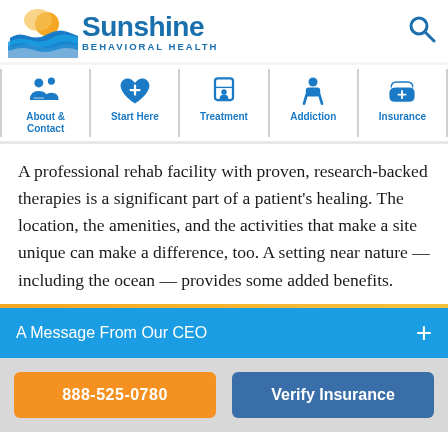[Figure (logo): Sunshine Behavioral Health logo with sun and ocean waves graphic, blue text reading 'Sunshine BEHAVIORAL HEALTH', and a search icon on the right]
[Figure (infographic): Navigation bar with 5 icons and labels: About & Contact (group of people icon), Start Here (heart with plus icon), Treatment (drink/glass icon), Addiction (person icon), Insurance (hand with plus icon)]
A professional rehab facility with proven, research-backed therapies is a significant part of a patient's healing. The location, the amenities, and the activities that make a site unique can make a difference, too. A setting near nature — including the ocean — provides some added benefits.
A Message From Our CEO
888-525-0780
Verify Insurance